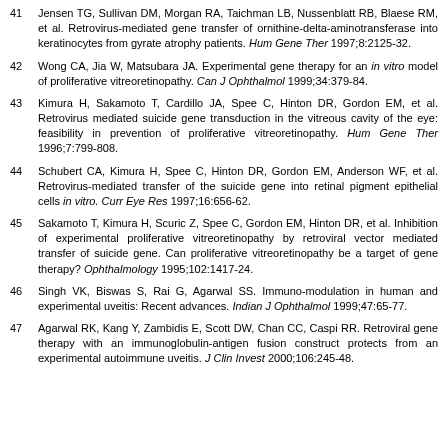41 Jensen TG, Sullivan DM, Morgan RA, Taichman LB, Nussenblatt RB, Blaese RM, et al. Retrovirus-mediated gene transfer of ornithine-delta-aminotransferase into keratinocytes from gyrate atrophy patients. Hum Gene Ther 1997;8:2125-32.
42 Wong CA, Jia W, Matsubara JA. Experimental gene therapy for an in vitro model of proliferative vitreoretinopathy. Can J Ophthalmol 1999;34:379-84.
43 Kimura H, Sakamoto T, Cardillo JA, Spee C, Hinton DR, Gordon EM, et al. Retrovirus mediated suicide gene transduction in the vitreous cavity of the eye: feasibility in prevention of proliferative vitreoretinopathy. Hum Gene Ther 1996;7:799-808.
44 Schubert CA, Kimura H, Spee C, Hinton DR, Gordon EM, Anderson WF, et al. Retrovirus-mediated transfer of the suicide gene into retinal pigment epithelial cells in vitro. Curr Eye Res 1997;16:656-62.
45 Sakamoto T, Kimura H, Scuric Z, Spee C, Gordon EM, Hinton DR, et al. Inhibition of experimental proliferative vitreoretinopathy by retroviral vector mediated transfer of suicide gene. Can proliferative vitreoretinopathy be a target of gene therapy? Ophthalmology 1995;102:1417-24.
46 Singh VK, Biswas S, Rai G, Agarwal SS. Immuno-modulation in human and experimental uveitis: Recent advances. Indian J Ophthalmol 1999;47:65-77.
47 Agarwal RK, Kang Y, Zambidis E, Scott DW, Chan CC, Caspi RR. Retroviral gene therapy with an immunoglobulin-antigen fusion construct protects from an experimental autoimmune uveitis. J Clin Invest 2000;106:245-48.